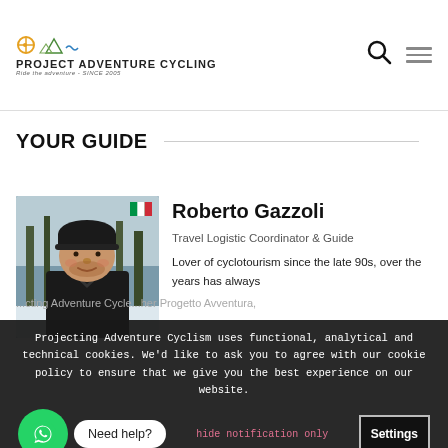PROJECT ADVENTURE CYCLING — Ride the adventure since 2005
YOUR GUIDE
[Figure (photo): Photo of Roberto Gazzoli wearing a dark cycling beanie and jacket, outdoors in a winter/forest setting. Italian flag icon in top right corner of photo.]
Roberto Gazzoli
Travel Logistic Coordinator & Guide
Lover of cyclotourism since the late 90s, over the years has always
Projecting Adventure Cyclism uses functional, analytical and technical cookies. We'd like to ask you to agree with our cookie policy to ensure that we give you the best experience on our website.
Need help?
hide notification only
Settings